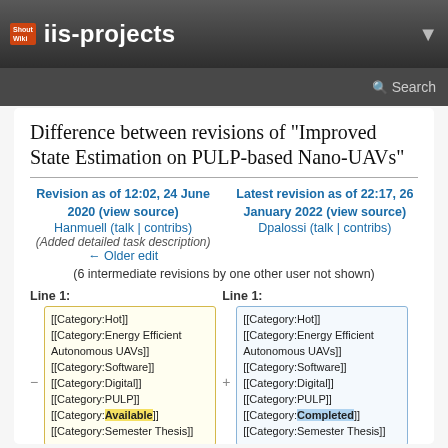iis-projects
Difference between revisions of "Improved State Estimation on PULP-based Nano-UAVs"
Revision as of 12:02, 24 June 2020 (view source)
Hanmuell (talk | contribs)
(Added detailed task description)
← Older edit
Latest revision as of 22:17, 26 January 2022 (view source)
Dpalossi (talk | contribs)
(6 intermediate revisions by one other user not shown)
Line 1:
Line 1:
[[Category:Hot]] [[Category:Energy Efficient Autonomous UAVs]] [[Category:Software]] [[Category:Digital]] [[Category:PULP]] [[Category:Available]] [[Category:Semester Thesis]]
[[Category:Hot]] [[Category:Energy Efficient Autonomous UAVs]] [[Category:Software]] [[Category:Digital]] [[Category:PULP]] [[Category:Completed]] [[Category:Semester Thesis]]